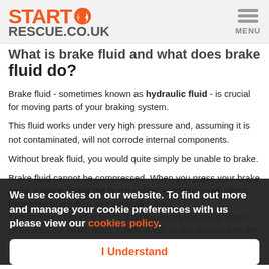START RESCUE.CO.UK — MENU
What is brake fluid and what does brake fluid do?
Brake fluid - sometimes known as hydraulic fluid - is crucial for moving parts of your braking system.
This fluid works under very high pressure and, assuming it is not contaminated, will not corrode internal components.
Without break fluid, you would quite simply be unable to brake.
Brake fluid cannot be compressed. When you press your brake pedal a piston inside the brake caliper is compressed, which forces the brake fluid into the brake lines.
The pressure from the brake fluid squeezes the brake rotors down onto the brake pads, which in turn make contact with the wheel, slowing your vehicle down as a result.
We use cookies on our website. To find out more and manage your cookie preferences with us please view our cookies policy.
I Understand